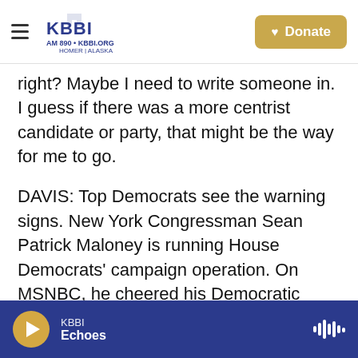KBBI AM 890 • KBBI.ORG HOMER ALASKA — Donate
right? Maybe I need to write someone in. I guess if there was a more centrist candidate or party, that might be the way for me to go.
DAVIS: Top Democrats see the warning signs. New York Congressman Sean Patrick Maloney is running House Democrats' campaign operation. On MSNBC, he cheered his Democratic governors' recent decision to end mask mandates for businesses. New York's school mask mandate was lifted this week.
(SOUNDBITE OF TV SHOW, "MORNING JOE")
KBBI Echoes